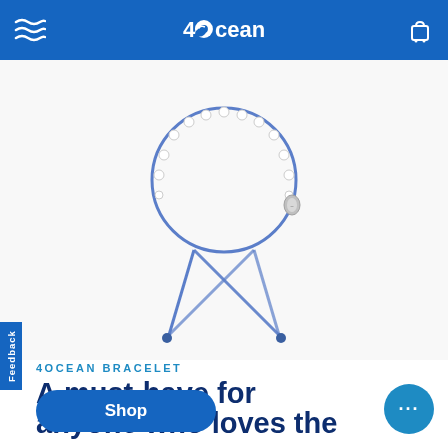4Ocean
[Figure (photo): 4Ocean bracelet — a blue woven cord bracelet with small clear/white beads around the top, forming a circular shape, with a silver clasp charm and adjustable sliding knot closure. The bracelet is photographed on a white background.]
4OCEAN BRACELET
A must-have for anyone who loves the ocean
Shop
Feedback